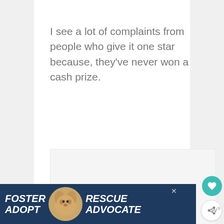I see a lot of complaints from people who give it one star because, they've never won a cash prize.
[Figure (other): A blank/loading image placeholder with three pagination dots below it, and a teal heart button and share button on the right side.]
[Figure (infographic): Advertisement banner: dark navy background with text 'FOSTER ADOPT' on the left, a photo of a beagle dog in the center, and 'RESCUE ADVOCATE' on the right, with a close button.]